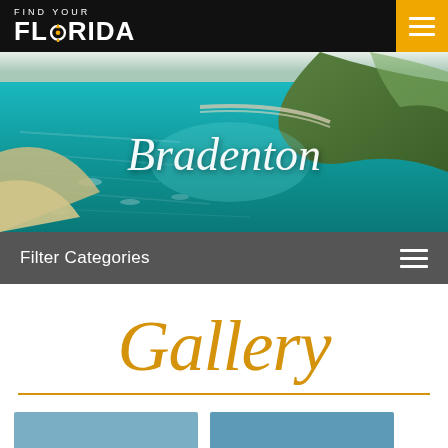FIND YOUR FLORIDA
[Figure (photo): Aerial view of Bradenton, Florida coastline with turquoise water, sandy beaches, a bridge, and green island. Script text 'Bradenton' overlaid in white.]
Filter Categories
Gallery
[Figure (photo): Two thumbnail images partially visible at bottom of page with blue/teal tones]